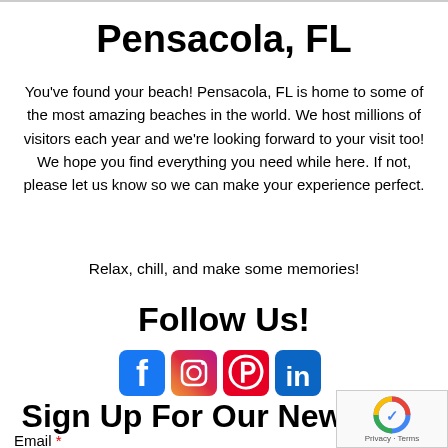Pensacola, FL
You've found your beach! Pensacola, FL is home to some of the most amazing beaches in the world. We host millions of visitors each year and we're looking forward to your visit too! We hope you find everything you need while here. If not, please let us know so we can make your experience perfect.
Relax, chill, and make some memories!
Follow Us!
[Figure (infographic): Social media icons: Facebook, Instagram, Pinterest, LinkedIn]
Sign Up For Our Newsletter
Email *